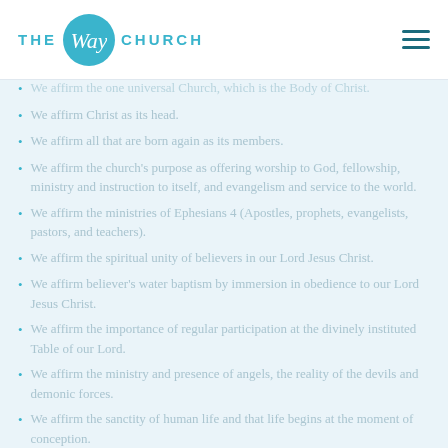THE Way CHURCH
We affirm the one universal Church, which is the Body of Christ.
We affirm Christ as its head.
We affirm all that are born again as its members.
We affirm the church's purpose as offering worship to God, fellowship, ministry and instruction to itself, and evangelism and service to the world.
We affirm the ministries of Ephesians 4 (Apostles, prophets, evangelists, pastors, and teachers).
We affirm the spiritual unity of believers in our Lord Jesus Christ.
We affirm believer's water baptism by immersion in obedience to our Lord Jesus Christ.
We affirm the importance of regular participation at the divinely instituted Table of our Lord.
We affirm the ministry and presence of angels, the reality of the devils and demonic forces.
We affirm the sanctity of human life and that life begins at the moment of conception.